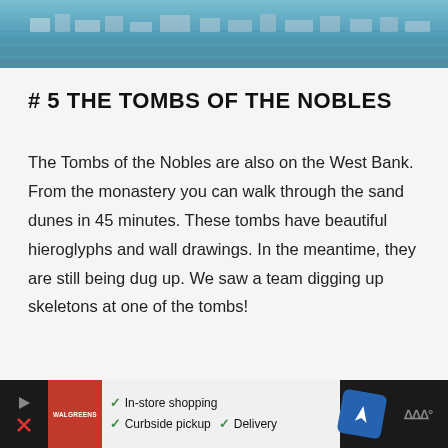[Figure (photo): Aerial or waterfront photo of a city/river scene, possibly Nile riverbank, showing water and buildings]
# 5 THE TOMBS OF THE NOBLES
The Tombs of the Nobles are also on the West Bank. From the monastery you can walk through the sand dunes in 45 minutes. These tombs have beautiful hieroglyphs and wall drawings. In the meantime, they are still being dug up. We saw a team digging up skeletons at one of the tombs!
[Figure (other): Advertisement banner with play/close icons, red logo, checkmarks for In-store shopping, Curbside pickup, Delivery, blue navigation icon, and dark weather icon]